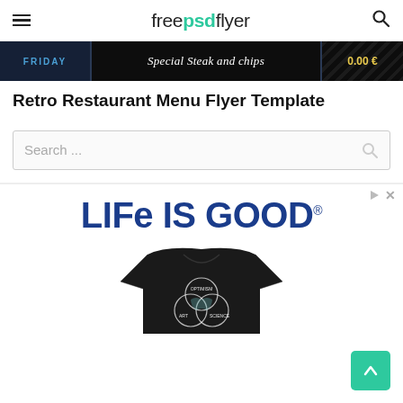freepsdflyer
[Figure (screenshot): Dark banner strip showing a retro restaurant menu flyer with text 'FRIDAY', 'Special Steak and chips', and a price on a black background with diagonal stripe overlay]
Retro Restaurant Menu Flyer Template
Search ...
[Figure (advertisement): Life is Good brand advertisement featuring the 'LIFE IS GOOD' logo in dark blue bold text and a black t-shirt with an Optimism/Art/Science Venn diagram graphic]
[Figure (other): Back-to-top arrow button in green/teal color at bottom right]